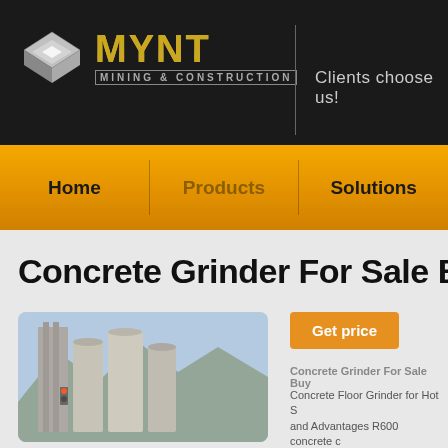[Figure (logo): MYNT Mining & Construction logo with diamond/cube icon and gold text, with 'Clients choose us!' tagline on dark background]
Home | Products | Solutions
Concrete Grinder For Sale Bu
[Figure (photo): Industrial concrete grinding/milling facility with large silos and industrial equipment, mountains in background]
Get price
Concrete Grinder For Sale Buy
Concrete Floor Grinder for Hot S and Advantages R600 concrete c perfect mid size machine with hu